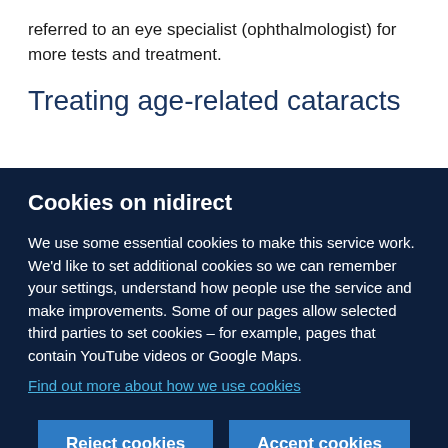referred to an eye specialist (ophthalmologist) for more tests and treatment.
Treating age-related cataracts
Cookies on nidirect
We use some essential cookies to make this service work. We'd like to set additional cookies so we can remember your settings, understand how people use the service and make improvements. Some of our pages allow selected third parties to set cookies – for example, pages that contain YouTube videos or Google Maps.
Find out more about how we use cookies